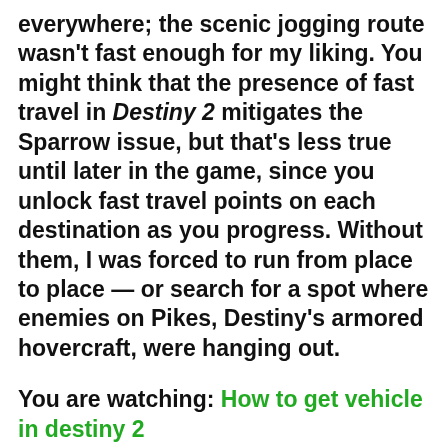everywhere; the scenic jogging route wasn't fast enough for my liking. You might think that the presence of fast travel in Destiny 2 mitigates the Sparrow issue, but that's less true until later in the game, since you unlock fast travel points on each destination as you progress. Without them, I was forced to run from place to place — or search for a spot where enemies on Pikes, Destiny's armored hovercraft, were hanging out.
You are watching: How to get vehicle in destiny 2
I asked Bungie why Sparrows are so scarce in Destiny 2. The studio said